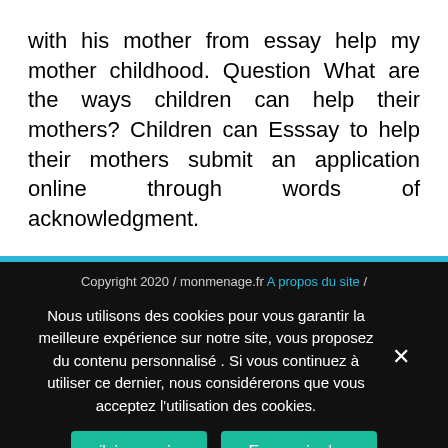with his mother from essay help my mother childhood. Question What are the ways children can help their mothers? Children can Esssay to help their mothers submit an application online through words of acknowledgment.
Copyright 2020 / monmenage.fr A propos du site /
Nous utilisons des cookies pour vous garantir la meilleure expérience sur notre site, vous proposez du contenu personnalisé . Si vous continuez à utiliser ce dernier, nous considérerons que vous acceptez l'utilisation des cookies.